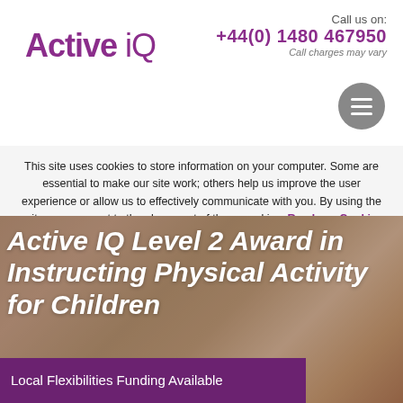[Figure (logo): Active IQ logo in purple text]
Call us on:
+44(0) 1480 467950
Call charges may vary
[Figure (other): Grey circular hamburger menu button]
This site uses cookies to store information on your computer. Some are essential to make our site work; others help us improve the user experience or allow us to effectively communicate with you. By using the site, you consent to the placement of these cookies. Read our Cookie Policy to learn more. AGREE & DISMISS
[Figure (photo): Background photo of hands stacked together]
Active IQ Level 2 Award in Instructing Physical Activity for Children
Local Flexibilities Funding Available